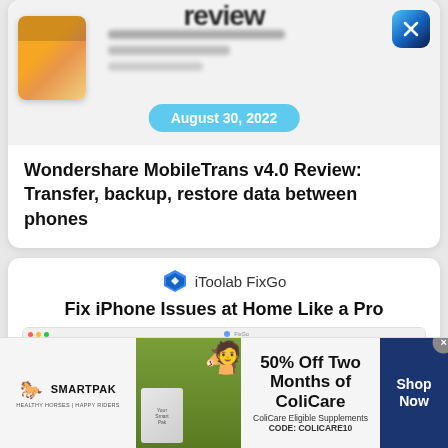[Figure (screenshot): Partial top card showing a phone screenshot with blurred UI elements and a colorful 'review' title partially visible at top. Includes a small phone thumbnail, blurred text lines, and a blue/navy X-shaped icon in top right corner.]
August 30, 2022
Wondershare MobileTrans v4.0 Review: Transfer, backup, restore data between phones
[Figure (screenshot): iToolab FixGo advertisement card showing logo, tagline 'Fix iPhone Issues at Home Like a Pro', and a Mac app screenshot with blue UI elements and orange gear/search icons. Blue decorative shapes on right side.]
[Figure (advertisement): SmartPak advertisement banner showing horse and rider image, '50% Off Two Months of ColiCare' offer text, 'ColiCare Eligible Supplements CODE: COLICARE10', and a 'Shop Now' blue button.]